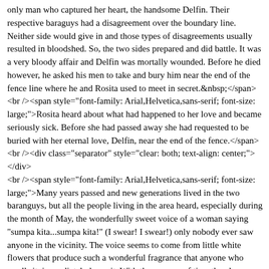only man who captured her heart, the handsome Delfin. Their respective baraguys had a disagreement over the boundary line. Neither side would give in and those types of disagreements usually resulted in bloodshed. So, the two sides prepared and did battle. It was a very bloody affair and Delfin was mortally wounded. Before he died however, he asked his men to take and bury him near the end of the fence line where he and Rosita used to meet in secret.&nbsp;</span><br /><span style="font-family: Arial,Helvetica,sans-serif; font-size: large;">Rosita heard about what had happened to her love and became seriously sick. Before she had passed away she had requested to be buried with her eternal love, Delfin, near the end of the fence.</span><br /><div class="separator" style="clear: both; text-align: center;"></div><br /><span style="font-family: Arial,Helvetica,sans-serif; font-size: large;">Many years passed and new generations lived in the two baranguys, but all the people living in the area heard, especially during the month of May, the wonderfully sweet voice of a woman saying "sumpa kita...sumpa kita!" (I swear! I swear!) only nobody ever saw anyone in the vicinity. The voice seems to come from little white flowers that produce such a wonderful fragrance that anyone who smells it, immediately loves it. With the passage of time the phrase "sumpa kita" has become to be pronounced sampaguita!&nbsp;</span><br /><br /><span style="font-family: Arial,Helvetica,sans-serif; font-size: large;">Here is another reference.</span><br /><a href="http://www.thisisareference.com">here The I wonder for the I